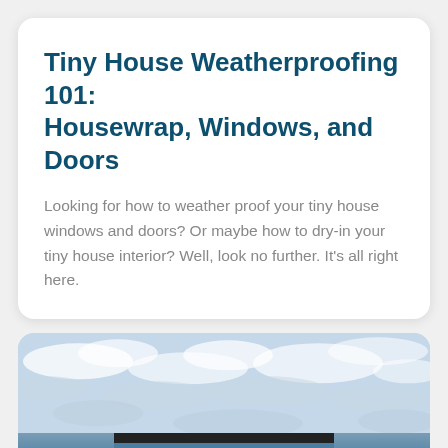Tiny House Weatherproofing 101: Housewrap, Windows, and Doors
Looking for how to weather proof your tiny house windows and doors? Or maybe how to dry-in your tiny house interior? Well, look no further. It's all right here.
[Figure (photo): A blue tiny house with two small white-framed windows on the upper half and two doors at ground level, photographed from the front against a dramatic cloudy sky with patches of blue.]